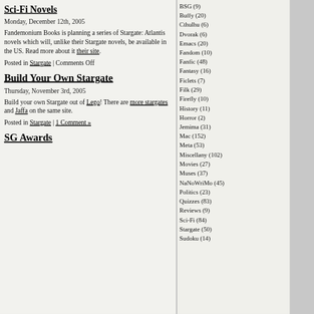Sci-Fi Novels
Monday, December 12th, 2005
Fandemonium Books is planning a series of Stargate: Atlantis novels which will, unlike their Stargate novels, be available in the US. Read more about it their site.
Posted in Stargate | Comments Off
Build Your Own Stargate
Thursday, November 3rd, 2005
Build your own Stargate out of Lego! There are more stargates and Jaffa on the same site.
Posted in Stargate | 1 Comment »
SG Awards
BSG (9)
Buffy (20)
Cthulhu (6)
Dvorak (6)
Emacs (20)
Fandom (10)
Fanfic (48)
Fantasy (16)
Ficlets (7)
Filk (29)
Firefly (10)
History (11)
Horror (2)
Jemima (31)
Mac (152)
Meta (53)
Miscellany (102)
Movies (27)
Muses (37)
NaNoWriMo (45)
Politics (23)
Quizzes (83)
Reviews (9)
Sci-Fi (84)
Stargate (50)
Sudoku (14)